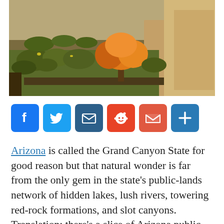[Figure (photo): Aerial view of desert scrubland with orange-leafed tree and sandy rocky terrain in Arizona]
[Figure (infographic): Social share buttons: Facebook (blue), Twitter (blue), Email (dark blue), Reddit (orange-red), Gmail (red), More/Plus (blue)]
Arizona is called the Grand Canyon State for good reason but that natural wonder is far from the only gem in the state’s public-lands network of hidden lakes, lush rivers, towering red-rock formations, and slot canyons. Translation: there’s a slice of Arizona public land perfect for every kind of adventurer whether you want to stargaze deep in the